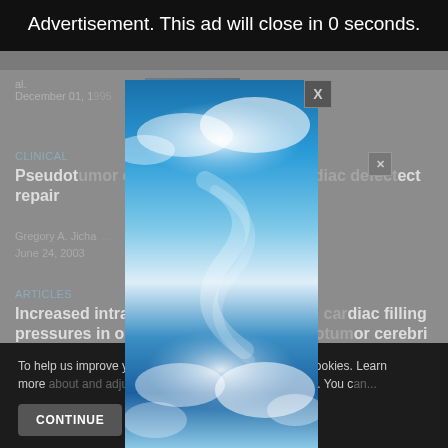Advertisement. This ad will close in 0 seconds.
al.
December 01, 1995
CLINICAL
Pseudot... fect repair
Gregory A. Jicha...
June 24, 2003
ARTICLES
Increased intra-... diac filling pressures in obe... or cerebri
H. J. Sugerman, E... al.
August 01, 1997
[Figure (photo): Sky photo with blue sky and white clouds]
To help us improve y... his website uses cookies. Learn more... your settings in our Cookie Policy. You c...
CONTINUE
FIN...